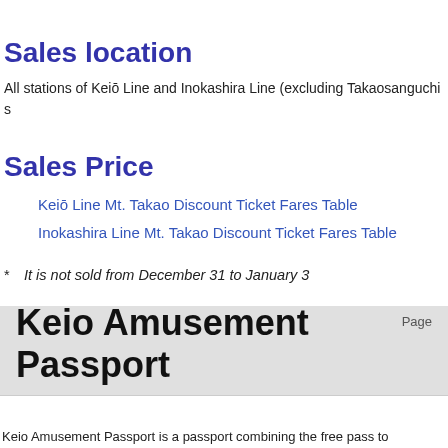Sales location
All stations of Keiō Line and Inokashira Line (excluding Takaosanguchi s
Sales Price
Keiō Line Mt. Takao Discount Ticket Fares Table
Inokashira Line Mt. Takao Discount Ticket Fares Table
* It is not sold from December 31 to January 3
Page
Keio Amusement Passport
Keio Amusement Passport is a passport combining the free pass to